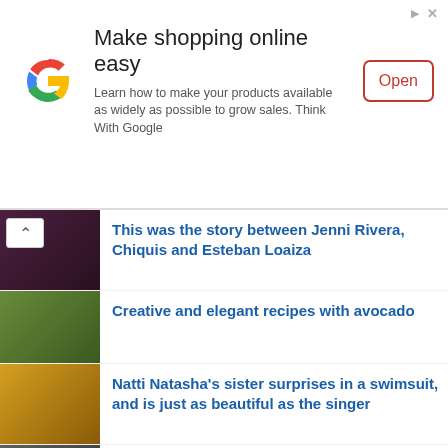[Figure (other): Google ad banner: Make shopping online easy. Learn how to make your products available as widely as possible to grow sales. Think With Google. Open button.]
This was the story between Jenni Rivera, Chiquis and Esteban Loaiza
Creative and elegant recipes with avocado
Natti Natasha's sister surprises in a swimsuit, and is just as beautiful as the singer
Cupra Formentor, so were its sales in Spain by engines
Learn the story behind Juan Gabriel's Japanese songs
Apple Watch's prowess with the ECG app
the first quarter of 2021 could break all records